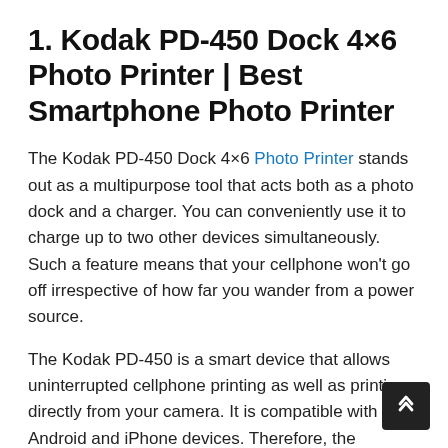1. Kodak PD-450 Dock 4×6 Photo Printer | Best Smartphone Photo Printer
The Kodak PD-450 Dock 4×6 Photo Printer stands out as a multipurpose tool that acts both as a photo dock and a charger. You can conveniently use it to charge up to two other devices simultaneously. Such a feature means that your cellphone won't go off irrespective of how far you wander from a power source.
The Kodak PD-450 is a smart device that allows uninterrupted cellphone printing as well as printing directly from your camera. It is compatible with both Android and iPhone devices. Therefore, the operating system of your phone should not be a barrier.